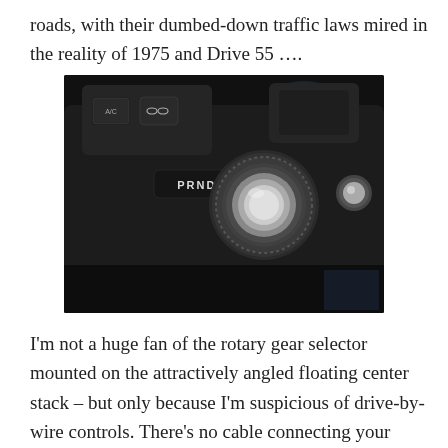roads, with their dumbed-down traffic laws mired in the reality of 1975 and Drive 55 ….
[Figure (photo): Close-up photo of a car center console showing a rotary gear selector dial labeled PRND S, with A/C button and other controls visible on a dark interior panel.]
I'm not a huge fan of the rotary gear selector mounted on the attractively angled floating center stack – but only because I'm suspicious of drive-by-wire controls. There's no cable connecting your hand to the transmission; your inputs